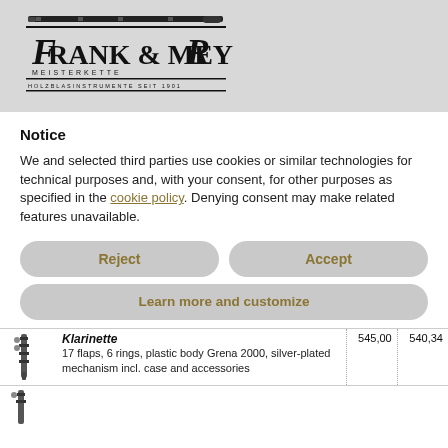[Figure (logo): Frank & Meyer Meisterkette Holzblasinstrumente seit 1901 logo with clarinet image]
Notice
We and selected third parties use cookies or similar technologies for technical purposes and, with your consent, for other purposes as specified in the cookie policy. Denying consent may make related features unavailable.
Reject
Accept
Learn more and customize
| Product | Price1 | Price2 |
| --- | --- | --- |
| Klarinette
17 flaps, 6 rings, plastic body Grena 2000, silver-plated mechanism incl. case and accessories | 545,00 | 540,34 |